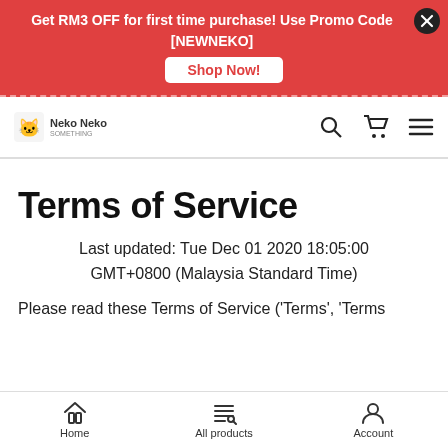Get RM3 OFF for first time purchase! Use Promo Code [NEWNEKO] Shop Now!
[Figure (logo): Neko Neko logo with cat icon and brand name]
Terms of Service
Last updated: Tue Dec 01 2020 18:05:00 GMT+0800 (Malaysia Standard Time)
Please read these Terms of Service ('Terms', 'Terms
Home  All products  Account